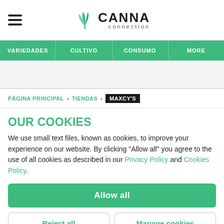[Figure (logo): Canna Connection logo with cannabis leaf icon and wordmark]
VARIEDADES | CULTIVO | CONSUMO | MORE
PÁGINA PRINCIPAL > TIENDAS > MAXCY'S
OUR COOKIES
We use small text files, known as cookies, to improve your experience on our website. By clicking "Allow all" you agree to the use of all cookies as described in our Privacy Policy and Cookies Policy.
Allow all
Reject all
Manage cookies